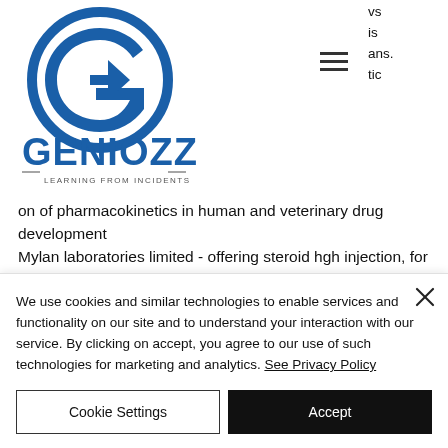[Figure (logo): Geniozz logo - blue circular G icon with text GENIOZZ and tagline LEARNING FROM INCIDENTS]
vs
is
ans.
tic
on of pharmacokinetics in human and veterinary drug development
Mylan laboratories limited - offering steroid hgh injection, for muscle building at rs 121/vial in sinnar, maharashtra. Estradiol, on the other hand, may act by stimulation of the somatotropic axis to increase growth
We use cookies and similar technologies to enable services and functionality on our site and to understand your interaction with our service. By clicking on accept, you agree to our use of such technologies for marketing and analytics. See Privacy Policy
Cookie Settings
Accept